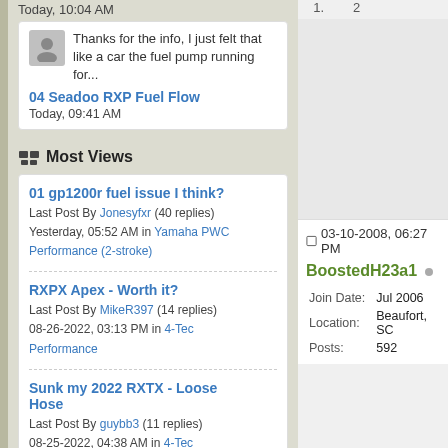Today, 10:04 AM
Thanks for the info, I just felt that like a car the fuel pump running for...
04 Seadoo RXP Fuel Flow
Today, 09:41 AM
Most Views
01 gp1200r fuel issue I think?
Last Post By Jonesyfxr (40 replies) Yesterday, 05:52 AM in Yamaha PWC Performance (2-stroke)
RXPX Apex - Worth it?
Last Post By MikeR397 (14 replies) 08-26-2022, 03:13 PM in 4-Tec Performance
Sunk my 2022 RXTX - Loose Hose
Last Post By guybb3 (11 replies) 08-25-2022, 04:38 AM in 4-Tec Performance
PWC News
03-10-2008, 06:27 PM
BoostedH23a1
| Field | Value |
| --- | --- |
| Join Date: | Jul 2006 |
| Location: | Beaufort, SC |
| Posts: | 592 |